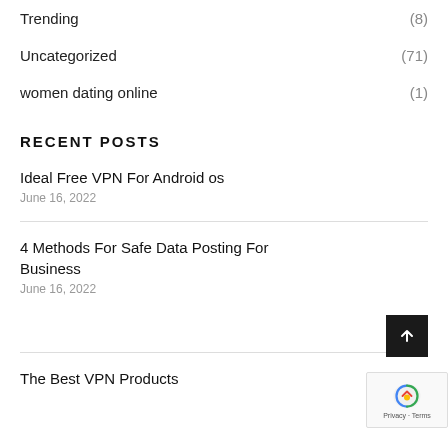Trending (8)
Uncategorized (71)
women dating online (1)
RECENT POSTS
Ideal Free VPN For Android os
June 16, 2022
4 Methods For Safe Data Posting For Business
June 16, 2022
The Best VPN Products